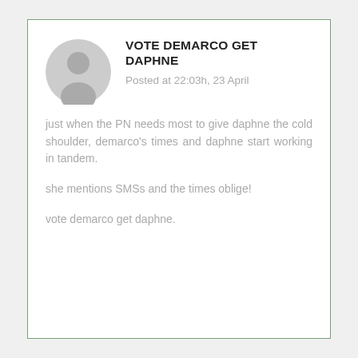[Figure (illustration): Generic user avatar: grey circle with silhouette of a person's head and shoulders]
VOTE DEMARCO GET DAPHNE
Posted at 22:03h, 23 April
just when the PN needs most to give daphne the cold shoulder, demarco's times and daphne start working in tandem.
she mentions SMSs and the times oblige!
vote demarco get daphne.